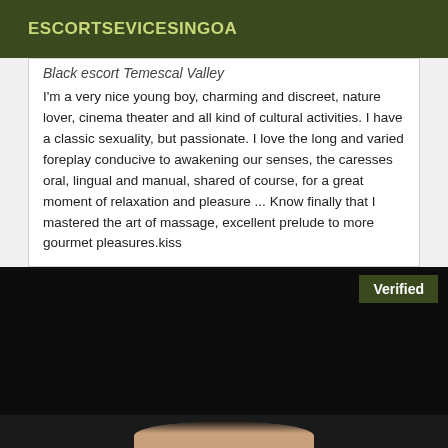ESCORTSEVICESINGOA
Black escort Temescal Valley
I'm a very nice young boy, charming and discreet, nature lover, cinema theater and all kind of cultural activities. I have a classic sexuality, but passionate. I love the long and varied foreplay conducive to awakening our senses, the caresses oral, lingual and manual, shared of course, for a great moment of relaxation and pleasure ... Know finally that I mastered the art of massage, excellent prelude to more gourmet pleasures.kiss
[Figure (photo): Dark/black image section with a Verified badge in the top right corner and a partial skin-toned image at the bottom]